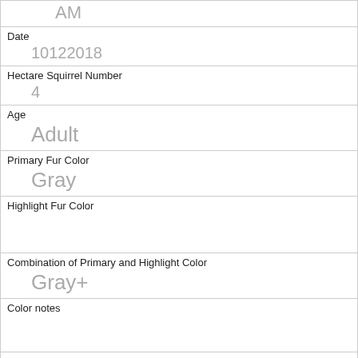| AM |
| Date | 10122018 |
| Hectare Squirrel Number | 4 |
| Age | Adult |
| Primary Fur Color | Gray |
| Highlight Fur Color |  |
| Combination of Primary and Highlight Color | Gray+ |
| Color notes |  |
| Location | Above Ground |
| Above Ground Sighter Measurement | 3 |
| Specific Location | on tree trunk |